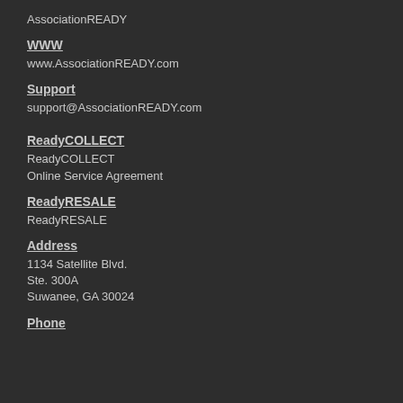AssociationREADY
WWW
www.AssociationREADY.com
Support
support@AssociationREADY.com
ReadyCOLLECT
ReadyCOLLECT
Online Service Agreement
ReadyRESALE
ReadyRESALE
Address
1134 Satellite Blvd.
Ste. 300A
Suwanee, GA 30024
Phone